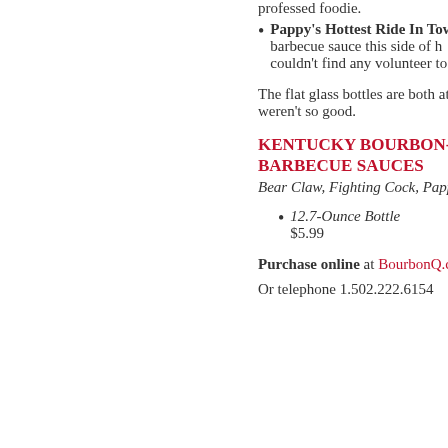professed foodie.
Pappy's Hottest Ride In Tow... barbecue sauce this side of h... couldn't find any volunteer to...
The flat glass bottles are both attract... weren't so good.
KENTUCKY BOURBON-Q BARBECUE SAUCES
Bear Claw, Fighting Cock, Pappy's
12.7-Ounce Bottle
$5.99
Purchase online at BourbonQ.com
Or telephone 1.502.222.6154